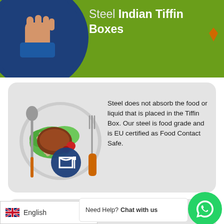Steel Indian Tiffin Boxes
[Figure (illustration): Plate with food (lamb chop and salad), cutlery, and a food-contact-safe badge icon]
Steel does not absorb the food or liquid that is placed in the Tiffin Box. Our steel is food grade and is EU certified as Food Contact Safe.
[Figure (illustration): Science beaker/flask illustration with red X mark and dots, representing no harmful chemicals]
Steel does not contain... plastic lunchboxes.
Need Help? Chat with us